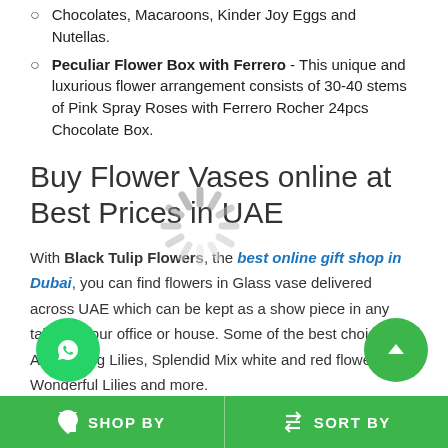Chocolates, Macaroons, Kinder Joy Eggs and Nutellas.
Peculiar Flower Box with Ferrero - This unique and luxurious flower arrangement consists of 30-40 stems of Pink Spray Roses with Ferrero Rocher 24pcs Chocolate Box.
Buy Flower Vases online at Best Prices in UAE
With Black Tulip Flowers, the best online gift shop in Dubai, you can find flowers in Glass vase delivered across UAE which can be kept as a show piece in any table of your office or house. Some of the best choices are Astounding Lilies, Splendid Mix white and red flowers, Wonderful Lilies and more.
To see the full product list, browse through our range.
SHOP BY   SORT BY